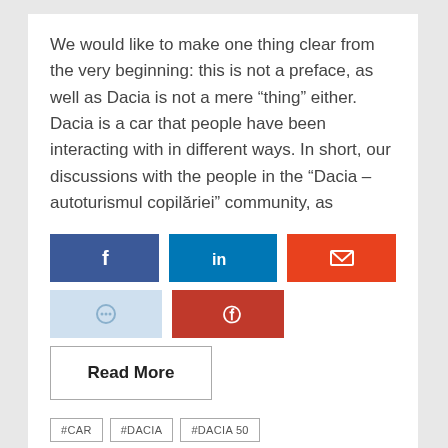We would like to make one thing clear from the very beginning: this is not a preface, as well as Dacia is not a mere “thing” either. Dacia is a car that people have been interacting with in different ways. In short, our discussions with the people in the “Dacia – autoturismul copilăriei” community, as
[Figure (infographic): Social share buttons: Facebook (dark blue), LinkedIn (blue), Email (orange-red), Message/chat (light blue), Pinterest (red)]
Read More
#CAR
#DACIA
#DACIA 50
#DOCUMENTARY PHOTOGRAPHY
#PHOTOBOOK